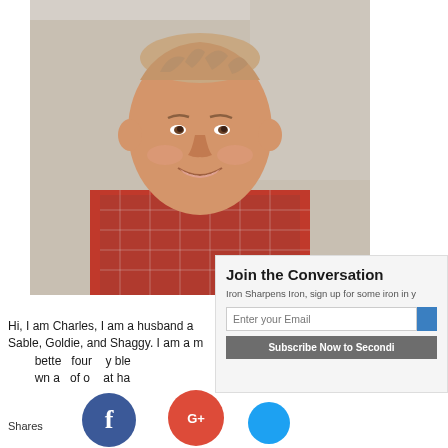[Figure (photo): Portrait photo of a smiling middle-aged man with short hair, wearing a red plaid shirt, against a light stone/wall background]
Join the Conversation
Iron Sharpens Iron, sign up for some iron in y
Hi, I am Charles, I am a husband a... Sable, Goldie, and Shaggy. I am a m... bette... four... y ble... wn a... of o... at ha...
Shares